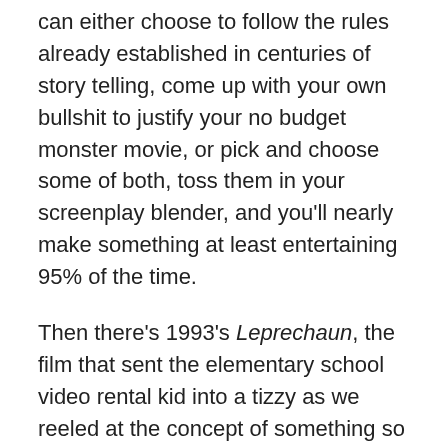can either choose to follow the rules already established in centuries of story telling, come up with your own bullshit to justify your no budget monster movie, or pick and choose some of both, toss them in your screenplay blender, and you'll nearly make something at least entertaining 95% of the time.
Then there's 1993's Leprechaun, the film that sent the elementary school video rental kid into a tizzy as we reeled at the concept of something so absurd being transformed into something absolutely terrifying. It felt dirty, it felt cheap and it was genuinely unnerving to little kid Root, who grew up with children's programming and sugary sweet cereal that ALWAYS portrayed Leprechaun's as incredibly sweet creatures. Then you would catch the fucking trailer for Leprechaun and you had to reevaluate